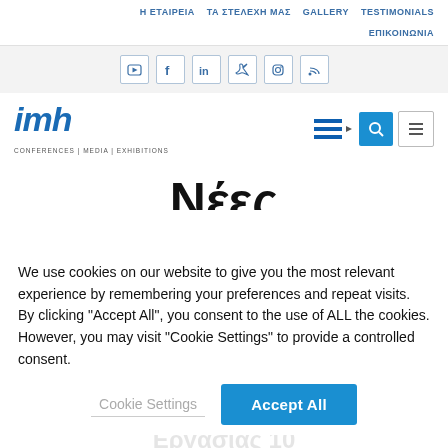Η ΕΤΑΙΡΕΙΑ  ΤΑ ΣΤΕΛΕΧΗ ΜΑΣ  GALLERY  TESTIMONIALS  ΕΠΙΚΟΙΝΩΝΙΑ
[Figure (screenshot): Social media icons row: YouTube, Facebook, LinkedIn, Twitter, Instagram, RSS]
[Figure (logo): IMH logo - CONFERENCES | MEDIA | EXHIBITIONS with Greek flag, search and menu buttons]
Νέες
We use cookies on our website to give you the most relevant experience by remembering your preferences and repeat visits. By clicking "Accept All", you consent to the use of ALL the cookies. However, you may visit "Cookie Settings" to provide a controlled consent.
Cookie Settings  |  Accept All